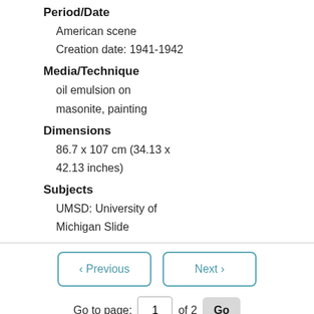Period/Date
American scene
Creation date: 1941-1942
Media/Technique
oil emulsion on masonite, painting
Dimensions
86.7 x 107 cm (34.13 x 42.13 inches)
Subjects
UMSD: University of Michigan Slide
< Previous   Next >
Go to page: 1 of 2 Go
UMSD USOMUR